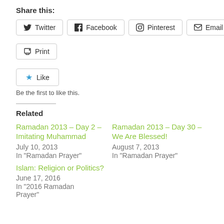Share this:
Twitter
Facebook
Pinterest
Email
Print
Like
Be the first to like this.
Related
Ramadan 2013 – Day 2 – Imitating Muhammad
July 10, 2013
In "Ramadan Prayer"
Ramadan 2013 – Day 30 – We Are Blessed!
August 7, 2013
In "Ramadan Prayer"
Islam: Religion or Politics?
June 17, 2016
In "2016 Ramadan Prayer"